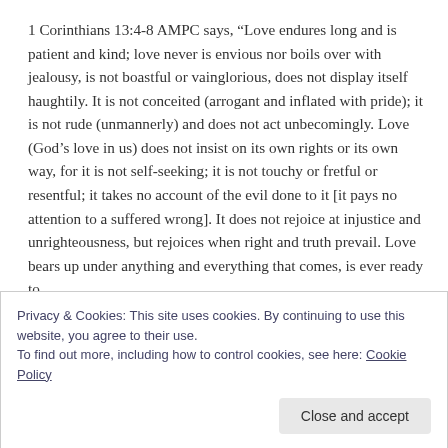1 Corinthians 13:4-8 AMPC says, “Love endures long and is patient and kind; love never is envious nor boils over with jealousy, is not boastful or vainglorious, does not display itself haughtily. It is not conceited (arrogant and inflated with pride); it is not rude (unmannerly) and does not act unbecomingly. Love (God’s love in us) does not insist on its own rights or its own way, for it is not self-seeking; it is not touchy or fretful or resentful; it takes no account of the evil done to it [it pays no attention to a suffered wrong]. It does not rejoice at injustice and unrighteousness, but rejoices when right and truth prevail. Love bears up under anything and everything that comes, is ever ready to
Privacy & Cookies: This site uses cookies. By continuing to use this website, you agree to their use.
To find out more, including how to control cookies, see here: Cookie Policy